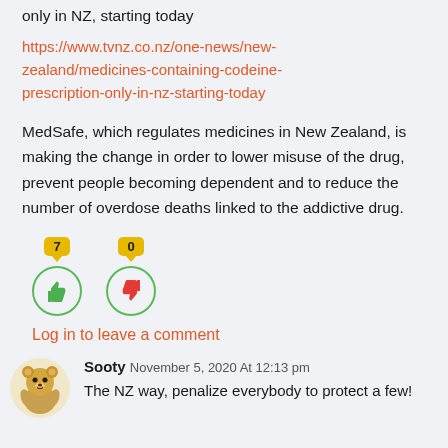only in NZ, starting today
https://www.tvnz.co.nz/one-news/new-zealand/medicines-containing-codeine-prescription-only-in-nz-starting-today
MedSafe, which regulates medicines in New Zealand, is making the change in order to lower misuse of the drug, prevent people becoming dependent and to reduce the number of overdose deaths linked to the addictive drug.
[Figure (other): Thumbs up icon with count 7 and thumbs down icon with count 0, vote buttons with green circle borders]
Log in to leave a comment
Sooty November 5, 2020 At 12:13 pm
The NZ way, penalize everybody to protect a few!